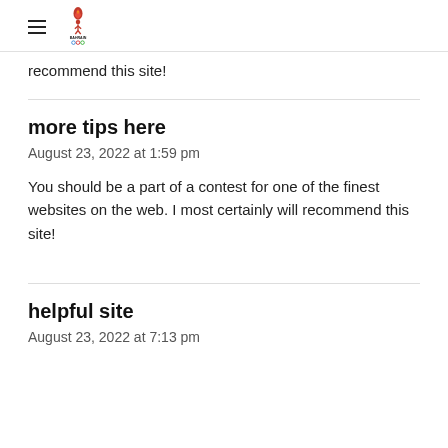Bahrain Olympic Committee [logo]
recommend this site!
more tips here
August 23, 2022 at 1:59 pm
You should be a part of a contest for one of the finest websites on the web. I most certainly will recommend this site!
helpful site
August 23, 2022 at 7:13 pm